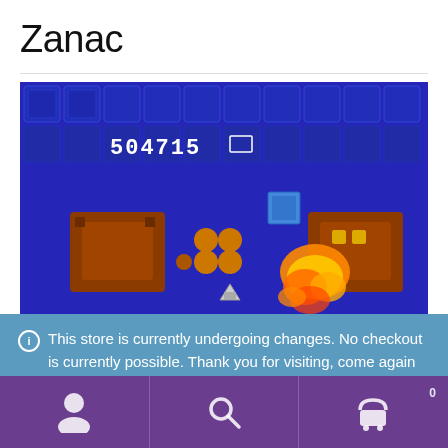Zanac
[Figure (screenshot): Screenshot of Zanac video game showing a vertical scrolling shooter with score 504715 displayed, enemies and explosions on a blue mechanical background]
This store is currently undergoing changes. No checkout is currently possible. Thank you for visiting, come again when our site is ready!
Dismiss
Navigation bar with user, search, and cart (0) icons